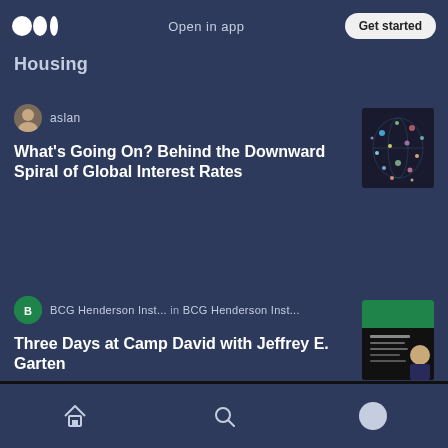Open in app  Get started
Housing
aslan
What's Going On? Behind the Downward Spiral of Global Interest Rates
BCG Henderson Inst... in BCG Henderson Inst...
Three Days at Camp David with Jeffrey E. Garten
Home  Search  Profile